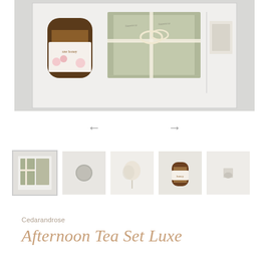[Figure (photo): Overhead view of an open white gift box containing a jar of raw honey with floral label, green linen-wrapped parcels tied with a cream ribbon, and other small items on a light grey background]
[Figure (photo): Navigation arrows (left and right) for image carousel]
[Figure (photo): Row of five product thumbnail images showing gift box components]
Cedarandrose
Afternoon Tea Set Luxe